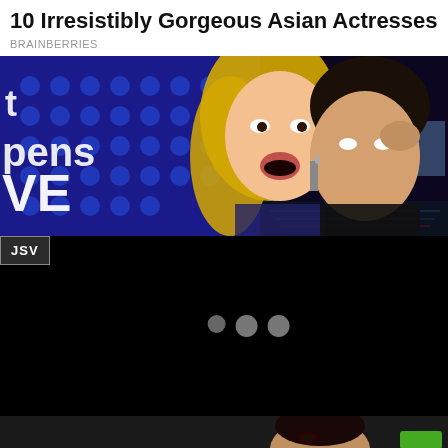10 Irresistibly Gorgeous Asian Actresses
BRAINBERRIES
[Figure (screenshot): TV show still: blonde woman laughing with dark-haired man, colorful dotted backdrop with partial text 'pens' and 'VE' visible, dark blue/purple studio background with city skyline]
[Figure (screenshot): Video player with black background, JSV badge in top-left corner, three loading dots in center]
[Figure (screenshot): Partial thumbnail strip at bottom showing a woman with dark hair and a green element in the corner]